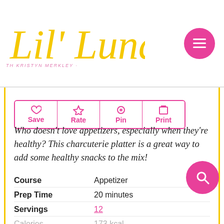Lil' Luna · WITH KRISTYN MERKLEY
Save | Rate | Pin | Print
Who doesn't love appetizers, especially when they're healthy? This charcuterie platter is a great way to add some healthy snacks to the mix!
| Field | Value |
| --- | --- |
| Course | Appetizer |
| Prep Time | 20 minutes |
| Servings | 12 |
| Calories | 173 kcal |
| Author | Lil' Luna |